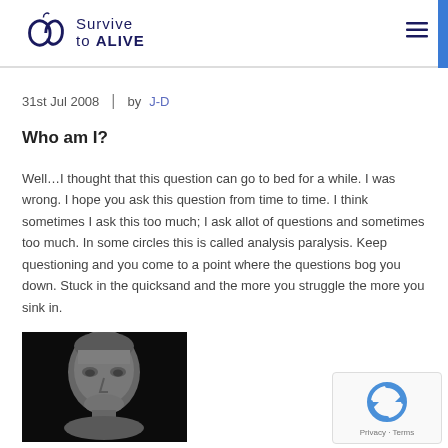Survive to ALIVE
31st Jul 2008  |  by J-D
Who am I?
Well…I thought that this question can go to bed for a while. I was wrong. I hope you ask this question from time to time. I think sometimes I ask this too much; I ask allot of questions and sometimes too much. In some circles this is called analysis paralysis. Keep questioning and you come to a point where the questions bog you down. Stuck in the quicksand and the more you struggle the more you sink in.
[Figure (photo): Black and white photo of a classical stone sculpture of a man's face and head, looking thoughtful or sorrowful.]